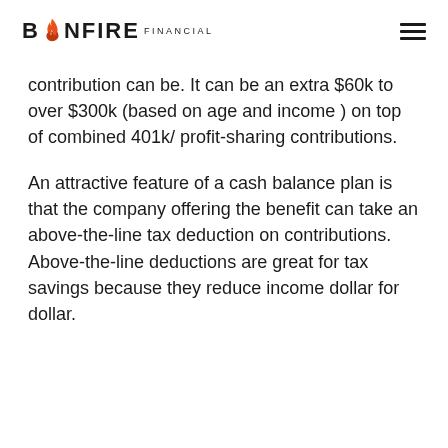BONFIRE FINANCIAL
contribution can be. It can be an extra $60k to over $300k (based on age and income ) on top of combined 401k/ profit-sharing contributions.
An attractive feature of a cash balance plan is that the company offering the benefit can take an above-the-line tax deduction on contributions. Above-the-line deductions are great for tax savings because they reduce income dollar for dollar.